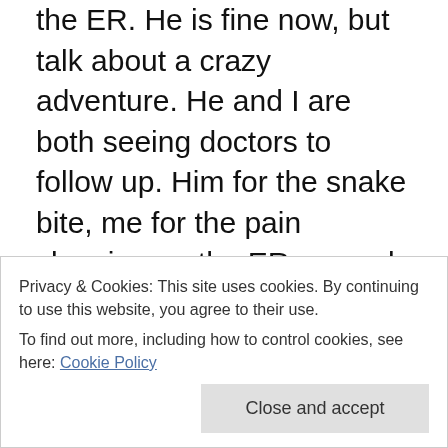the ER. He is fine now, but talk about a crazy adventure. He and I are both seeing doctors to follow up. Him for the snake bite, me for the pain sleeping on the ER caused my already messed up back. This morning we follow up his finger and then I go straight to the chiropractor. Not that we can truly afford either, but we can't afford to NOT go!
So here we are. I'm in the midst of mass insanity and it doesn't look to get any better any time soon. But, it has pushed me to a conclusion that I need to do something more. I need to get off my duff. Moving and new cameras do not pay for themselves. I know I posted the base cost
Privacy & Cookies: This site uses cookies. By continuing to use this website, you agree to their use.
To find out more, including how to control cookies, see here: Cookie Policy
Close and accept